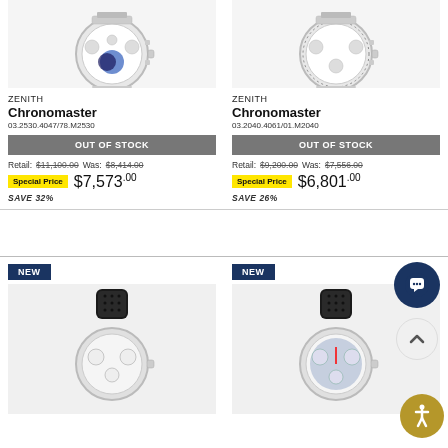[Figure (photo): Zenith Chronomaster watch with skeleton moonphase dial, silver bracelet, reference 03.2530.4047/78.M2530]
ZENITH
Chronomaster
03.2530.4047/78.M2530
OUT OF STOCK
Retail: $11,100.00   Was: $8,414.00
Special Price  $7,573.00
SAVE 32%
[Figure (photo): Zenith Chronomaster watch with open heart chronograph dial, silver bracelet, reference 03.2040.4061/01.M2040]
ZENITH
Chronomaster
03.2040.4061/01.M2040
OUT OF STOCK
Retail: $9,200.00   Was: $7,556.00
Special Price  $6,801.00
SAVE 26%
[Figure (photo): NEW Zenith Chronomaster watch with open heart skeleton dial, black rubber strap]
[Figure (photo): NEW Zenith Chronomaster watch with blue skeleton dial, black rubber strap]